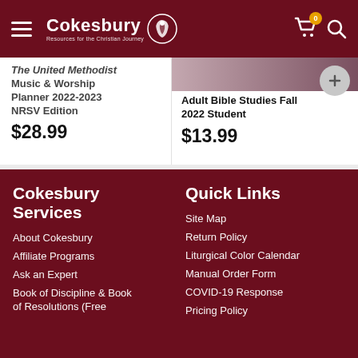Cokesbury - Resources for the Christian Journey
The United Methodist Music & Worship Planner 2022-2023 NRSV Edition $28.99
Adult Bible Studies Fall 2022 Student $13.99
Cokesbury Services
About Cokesbury
Affiliate Programs
Ask an Expert
Book of Discipline & Book of Resolutions (Free
Quick Links
Site Map
Return Policy
Liturgical Color Calendar
Manual Order Form
COVID-19 Response
Pricing Policy